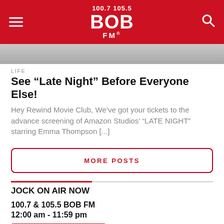100.7 105.5 BOB FM
[Figure (photo): Partial photo strip of people, cropped at top of content area]
LIFE
See “Late Night” Before Everyone Else!
Hey Rewind Movie Club, We’ve got your tickets to the advance screening of Amazon Studios’ “LATE NIGHT” starring Emma Thompson [...]
MORE POSTS
JOCK ON AIR NOW
100.7 & 105.5 BOB FM
12:00 am - 11:59 pm
[Figure (logo): 100.7 & 105.5 BOB FM station logo on red background]